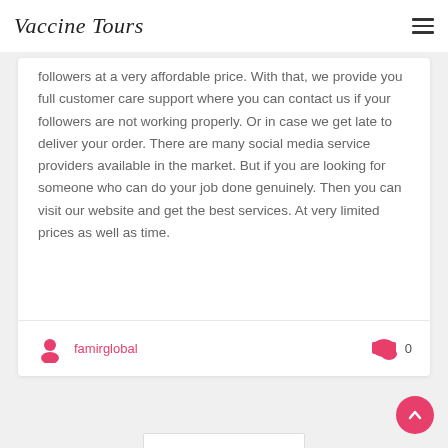Vaccine Tours
followers at a very affordable price. With that, we provide you full customer care support where you can contact us if your followers are not working properly. Or in case we get late to deliver your order. There are many social media service providers available in the market. But if you are looking for someone who can do your job done genuinely. Then you can visit our website and get the best services. At very limited prices as well as time.
famirglobal
0